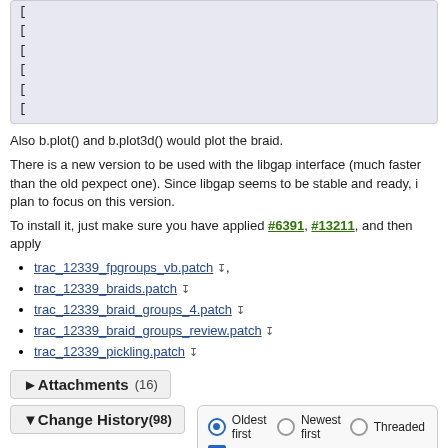[Figure (screenshot): Code box showing multiple lines each starting with '[' character]
Also b.plot() and b.plot3d() would plot the braid.
There is a new version to be used with the libgap interface (much faster than the old pexpect one). Since libgap seems to be stable and ready, i plan to focus on this version.
To install it, just make sure you have applied #6391, #13211, and then apply
trac_12339_fpgroups_vb.patch
trac_12339_braids.patch
trac_12339_braid_groups_4.patch
trac_12339_braid_groups_review.patch
trac_12339_pickling.patch
Attachments (16)
Change History (98)
Oldest first  Newest first  Threaded  Show property changes